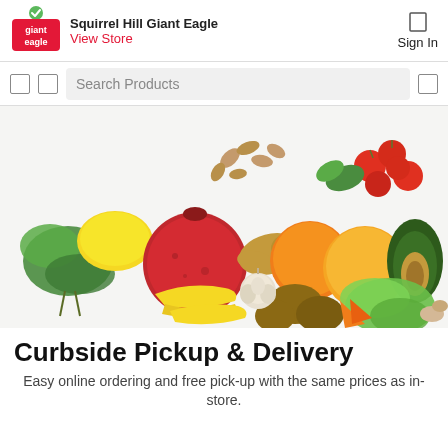Squirrel Hill Giant Eagle | View Store | Sign In
Search Products
[Figure (photo): Assorted fresh fruits and vegetables including pomegranate, oranges, lemon, avocado, cherry tomatoes, bananas, potatoes, lettuce, parsley, garlic, ginger root, and almonds arranged on a white background]
Curbside Pickup & Delivery
Easy online ordering and free pick-up with the same prices as in-store.